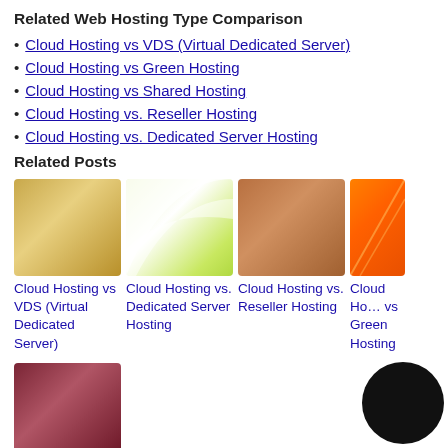Related Web Hosting Type Comparison
Cloud Hosting vs VDS (Virtual Dedicated Server)
Cloud Hosting vs Green Hosting
Cloud Hosting vs Shared Hosting
Cloud Hosting vs. Reseller Hosting
Cloud Hosting vs. Dedicated Server Hosting
Related Posts
[Figure (photo): Gold gradient thumbnail for Cloud Hosting vs VDS (Virtual Dedicated Server)]
Cloud Hosting vs VDS (Virtual Dedicated Server)
[Figure (photo): Light green/white gradient thumbnail for Cloud Hosting vs. Dedicated Server Hosting]
Cloud Hosting vs. Dedicated Server Hosting
[Figure (photo): Copper/brown gradient thumbnail for Cloud Hosting vs. Reseller Hosting]
Cloud Hosting vs. Reseller Hosting
[Figure (photo): Orange gradient thumbnail for Cloud Hosting vs Green Hosting]
Cloud Hosting vs Green Hosting
[Figure (photo): Mauve/dark red gradient thumbnail, second row]
[Figure (other): Dark circle element in lower right corner]